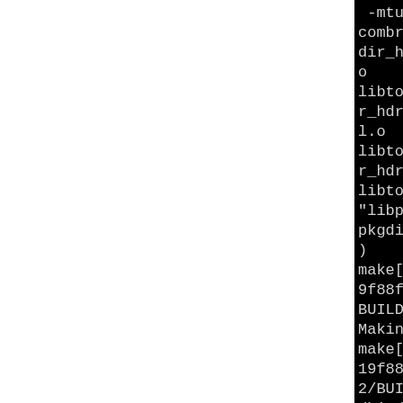[Figure (screenshot): Terminal/console output showing build system log lines from a Linux package build process. Black background with light gray monospace text. Left portion of page is white (clipped). Text shows libtool link commands, make directory messages, and compilation flags for poldek-0.30.1.]